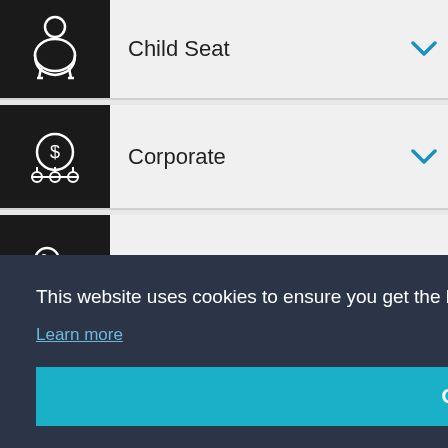Child Seat
Corporate
Leave keys
Long Term
Indoor
This website uses cookies to ensure you get the best experience on our website. Learn more
Got it!